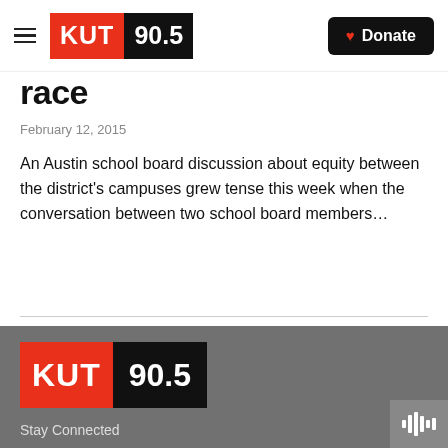KUT 90.5 — Donate
Race
February 12, 2015
An Austin school board discussion about equity between the district's campuses grew tense this week when the conversation between two school board members…
[Figure (logo): KUT 90.5 radio station logo in footer]
Stay Connected
KUT
BBC World Service